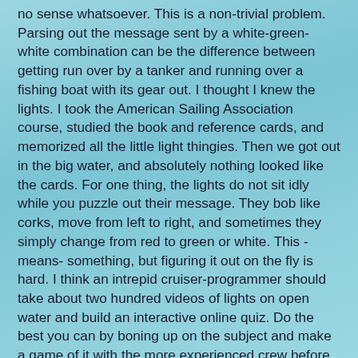no sense whatsoever. This is a non-trivial problem. Parsing out the message sent by a white-green-white combination can be the difference between getting run over by a tanker and running over a fishing boat with its gear out. I thought I knew the lights. I took the American Sailing Association course, studied the book and reference cards, and memorized all the little light thingies. Then we got out in the big water, and absolutely nothing looked like the cards. For one thing, the lights do not sit idly while you puzzle out their message. They bob like corks, move from left to right, and sometimes they simply change from red to green or white. This -means- something, but figuring it out on the fly is hard. I think an intrepid cruiser-programmer should take about two hundred videos of lights on open water and build an interactive online quiz. Do the best you can by boning up on the subject and make a game of it with the more experienced crew before they go to bed so you don't panic after they've gone to sleep.
***
More things you do not need to take on a passage: